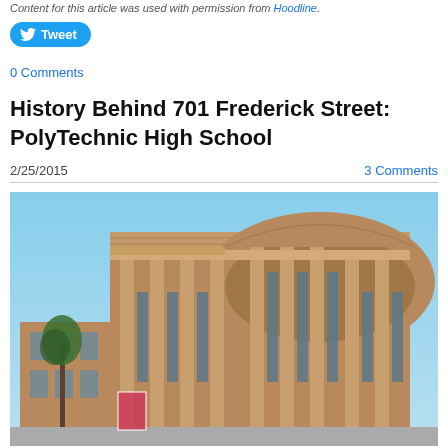Content for this article was used with permission from Hoodline.
Tweet
0 Comments
History Behind 701 Frederick Street: PolyTechnic High School
2/25/2015    3 Comments
[Figure (photo): Exterior photo of PolyTechnic High School at 701 Frederick Street, a large brick Art Deco building with tall arched windows and decorative brick facade, photographed against a blue sky.]